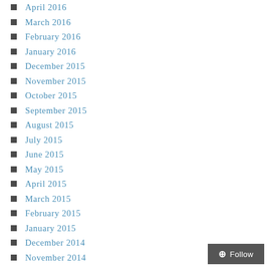April 2016
March 2016
February 2016
January 2016
December 2015
November 2015
October 2015
September 2015
August 2015
July 2015
June 2015
May 2015
April 2015
March 2015
February 2015
January 2015
December 2014
November 2014
October 2014
September 2014
August 2014
July 2014
June 2014
May 2014
April 2014
March 2014